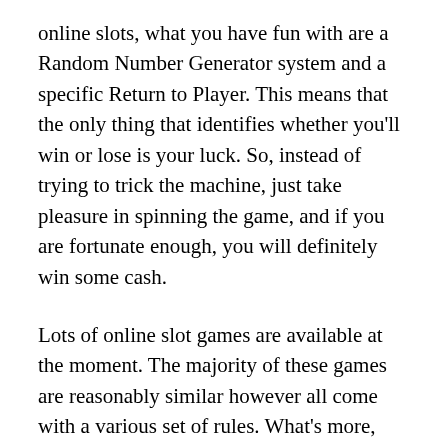online slots, what you have fun with are a Random Number Generator system and a specific Return to Player. This means that the only thing that identifies whether you'll win or lose is your luck. So, instead of trying to trick the machine, just take pleasure in spinning the game, and if you are fortunate enough, you will definitely win some cash.
Lots of online slot games are available at the moment. The majority of these games are reasonably similar however all come with a various set of rules. What's more, most of these games have different styles that make them more fascinating for players. No matter what type of style you want, there's a slot that fits your needs. Discover lots of More slots and Game of The...